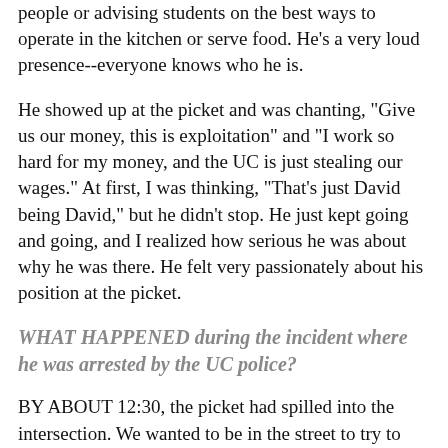people or advising students on the best ways to operate in the kitchen or serve food. He's a very loud presence--everyone knows who he is.
He showed up at the picket and was chanting, "Give us our money, this is exploitation" and "I work so hard for my money, and the UC is just stealing our wages." At first, I was thinking, "That's just David being David," but he didn't stop. He just kept going and going, and I realized how serious he was about why he was there. He felt very passionately about his position at the picket.
WHAT HAPPENED during the incident where he was arrested by the UC police?
BY ABOUT 12:30, the picket had spilled into the intersection. We wanted to be in the street to try to gain support and show that our voices will be heard.
Things escalated very quickly: people started honking